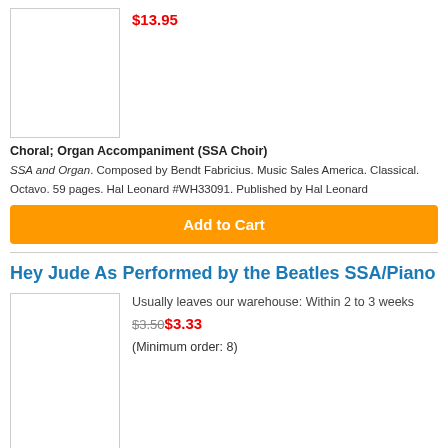$13.95
[Figure (illustration): Book cover image placeholder (white rectangle with border)]
Choral; Organ Accompaniment (SSA Choir)
SSA and Organ. Composed by Bendt Fabricius. Music Sales America. Classical. Octavo. 59 pages. Hal Leonard #WH33091. Published by Hal Leonard
Add to Cart
Hey Jude As Performed by the Beatles SSA/Piano
[Figure (illustration): Book cover image placeholder (white rectangle with border)]
Usually leaves our warehouse: Within 2 to 3 weeks
$3.50 $3.33
(Minimum order: 8)
Composed by John Lennon and Paul McCartney. Arranged by Jeremy Birchall. Music Sales America. Octavo. Hal Leonard #NO91861. Published by Hal Leonard (HL.14043817).
Add to Cart